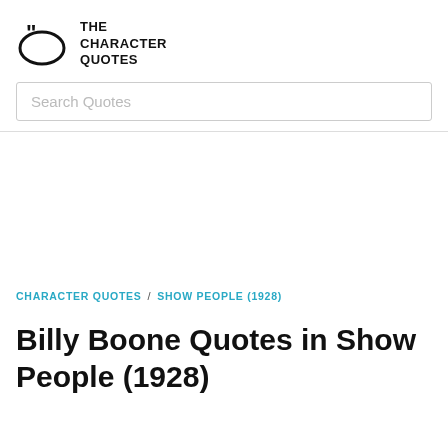THE CHARACTER QUOTES
Search Quotes
CHARACTER QUOTES / SHOW PEOPLE (1928)
Billy Boone Quotes in Show People (1928)